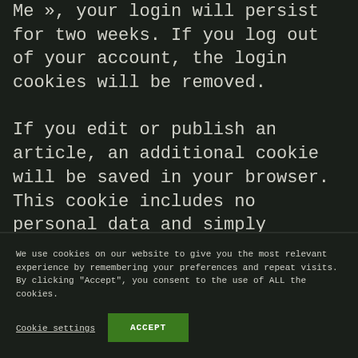Me », your login will persist for two weeks. If you log out of your account, the login cookies will be removed.

If you edit or publish an article, an additional cookie will be saved in your browser. This cookie includes no personal data and simply indicates the post ID of the article you just edited. It expires after 1 day
We use cookies on our website to give you the most relevant experience by remembering your preferences and repeat visits. By clicking "Accept", you consent to the use of ALL the cookies.
Cookie settings
ACCEPT